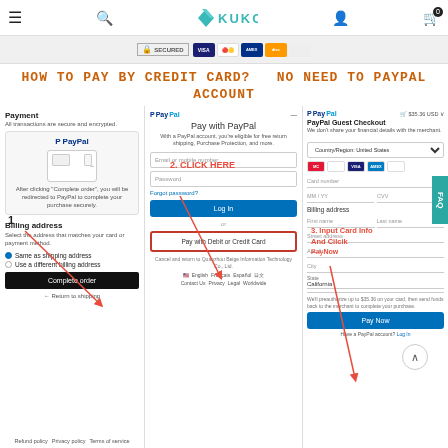Kukombo website header with hamburger menu, search, logo, user icon, and cart
[Figure (screenshot): Payment security badge strip showing SECURED badge and credit card logos (Visa, Mastercard, etc.)]
HOW TO PAY BY CREDIT CARD?  NO NEED TO PAYPAL ACCOUNT
[Figure (screenshot): Three-panel instructional screenshot showing: (1) Left panel - Shopify checkout Payment section with PayPal option and Billing address section with Complete order button. Number 1 label with arrow pointing to Complete order. (2) Middle panel - PayPal login screen with email/password fields, 'Pay with Debit or Credit Card' button highlighted with red border, label '2. CLICK HERE' with arrow. (3) Right panel - PayPal Guest Checkout form showing card number, MM/YY, CVV fields and billing address fields, label '3. Input Card Info And Click PayNow' with arrow pointing to Pay Now button. FAQ tab on right side.]